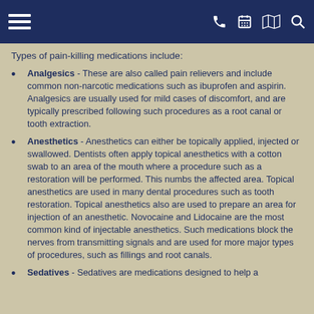[Navigation bar with menu, phone, calendar, map, and search icons]
Types of pain-killing medications include:
Analgesics - These are also called pain relievers and include common non-narcotic medications such as ibuprofen and aspirin. Analgesics are usually used for mild cases of discomfort, and are typically prescribed following such procedures as a root canal or tooth extraction.
Anesthetics - Anesthetics can either be topically applied, injected or swallowed. Dentists often apply topical anesthetics with a cotton swab to an area of the mouth where a procedure such as a restoration will be performed. This numbs the affected area. Topical anesthetics are used in many dental procedures such as tooth restoration. Topical anesthetics also are used to prepare an area for injection of an anesthetic. Novocaine and Lidocaine are the most common kind of injectable anesthetics. Such medications block the nerves from transmitting signals and are used for more major types of procedures, such as fillings and root canals.
Sedatives - Sedatives are medications designed to help a